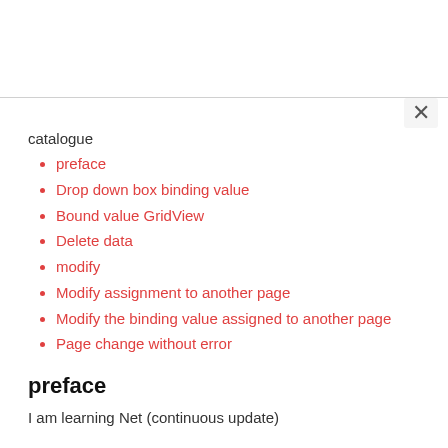catalogue
preface
Drop down box binding value
Bound value GridView
Delete data
modify
Modify assignment to another page
Modify the binding value assigned to another page
Page change without error
preface
I am learning Net (continuous update)